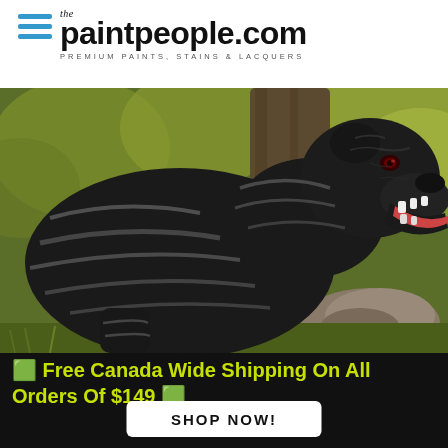[Figure (logo): thepaintpeople.com logo with hamburger menu icon. Three blue horizontal bars on left, then 'the' in small italic serif, 'paintpeople.com' in large bold sans-serif, and 'PREMIUM PAINTS, STAINS & LACQUERS' in small spaced caps below.]
[Figure (photo): Close-up photograph of a large black brindle dog (Cane Corso type) with mouth open showing teeth, facing right. The dog has distinctive gray/silver brindle stripe markings on its dark black coat. Background shows green foliage and a rock.]
🟩 Free Canada Wide Shipping On All Orders Of $149 🟩
SHOP NOW!